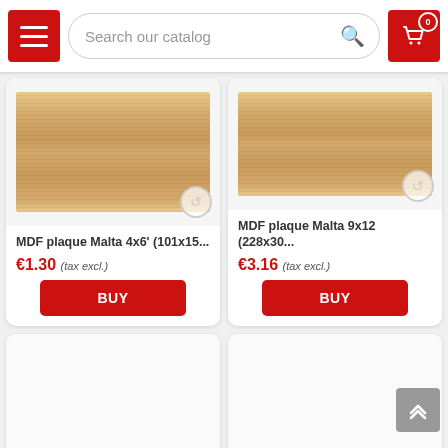Search our catalog
[Figure (screenshot): Product card: MDF plaque Malta 4x6' (101x15... wood texture image with refresh icon]
MDF plaque Malta 4x6' (101x15...
€1.30 (tax excl.)
BUY
[Figure (screenshot): Product card: MDF plaque Malta 9x12 (228x30... wood texture image with refresh icon]
MDF plaque Malta 9x12 (228x30...
€3.16 (tax excl.)
BUY
[Figure (screenshot): Bottom left product card - loading/empty state with red dot indicator]
[Figure (screenshot): Bottom right product card - loading/empty state]